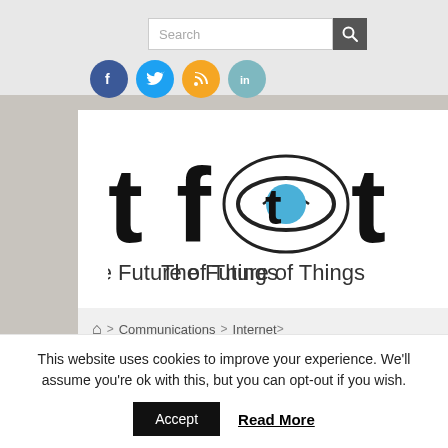[Figure (logo): Search bar with text input and magnifying glass button icon]
[Figure (infographic): Social media icons: Facebook (blue circle with f), Twitter (blue circle with bird), RSS (orange circle with RSS symbol), LinkedIn (teal circle with in)]
[Figure (logo): TFOT - The Future of Things logo with stylized text and circular orbit graphic with blue dot]
Communications > Internet > How Technology Is Changing Business Marketing
This website uses cookies to improve your experience. We'll assume you're ok with this, but you can opt-out if you wish.
Accept | Read More